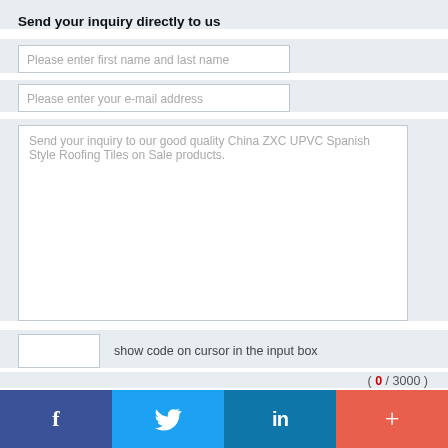Send your inquiry directly to us
Please enter first name and last name
Please enter your e-mail address
Send your inquiry to our good quality China ZXC UPVC Spanish Style Roofing Tiles on Sale products.
show code on cursor in the input box
( 0 / 3000 )
Contact Now
OTHER PRODUCTS
[Figure (infographic): Social media share bar with Facebook, Twitter, LinkedIn, and plus button icons]